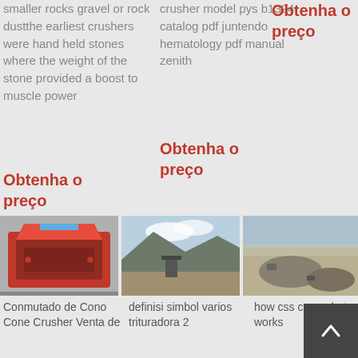smaller rocks gravel or rock dustthe earliest crushers were hand held stones where the weight of the stone provided a boost to muscle power
Obtenha o preço
crusher model pys b1324 catalog pdf juntendo hematology pdf manual zenith
Obtenha o preço
Obtenha o preço
[Figure (photo): Red cone crusher machine]
[Figure (photo): Industrial crushing site with mountains]
[Figure (photo): Aerial view of quarry or mining operation]
Conmutado de Cono Cone Crusher Venta de
definisi simbol varios trituradora 2
how css cone photos works